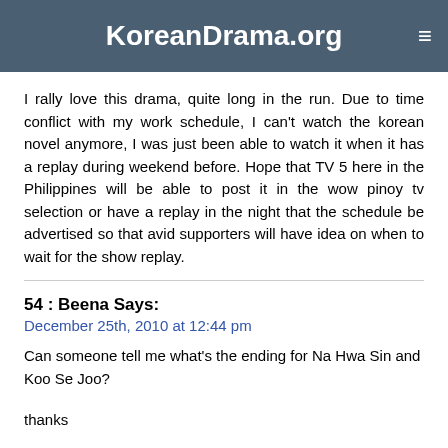KoreanDrama.org
I rally love this drama, quite long in the run. Due to time conflict with my work schedule, I can't watch the korean novel anymore, I was just been able to watch it when it has a replay during weekend before. Hope that TV 5 here in the Philippines will be able to post it in the wow pinoy tv selection or have a replay in the night that the schedule be advertised so that avid supporters will have idea on when to wait for the show replay.
54 : Beena Says:
December 25th, 2010 at 12:44 pm
Can someone tell me what's the ending for Na Hwa Sin and Koo Se Joo?
thanks
55 : Jhune27 Says:
December 29th, 2010 at 1:44 am
i really love watching this show.. though the story is quite